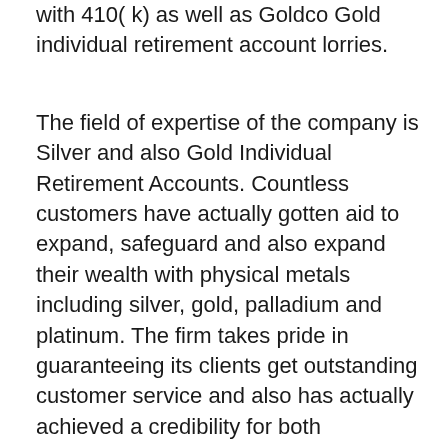with 410( k) as well as Goldco Gold individual retirement account lorries.
The field of expertise of the company is Silver and also Gold Individual Retirement Accounts. Countless customers have actually gotten aid to expand, safeguard and also expand their wealth with physical metals including silver, gold, palladium and platinum. The firm takes pride in guaranteeing its clients get outstanding customer service and also has actually achieved a credibility for both outstanding educational resources and also exceptionally top notch solution. Investors intriguing in hands-off diversity are superb prospects for a Silver or Gold IRA.